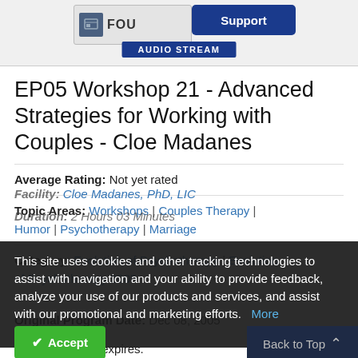[Figure (screenshot): Top banner with organization logo showing 'FOU...' text and icon, a blue 'Support' button, and a blue 'AUDIO STREAM' button below]
EP05 Workshop 21 - Advanced Strategies for Working with Couples - Cloe Madanes
Average Rating: Not yet rated
Topic Areas: Workshops | Couples Therapy | Humor | Psychotherapy | Marriage
Category: Evolution of Psychotherapy | Evolution of Psychotherapy 2005
Facility: Cloe Madanes, PhD, LIC
Duration: 2 Hours 03 Minutes
Original Program Date: Dec 08, 2005
License: Never expires.
This site uses cookies and other tracking technologies to assist with navigation and your ability to provide feedback, analyze your use of our products and services, and assist with our promotional and marketing efforts.  More Information
Accept
Back to Top